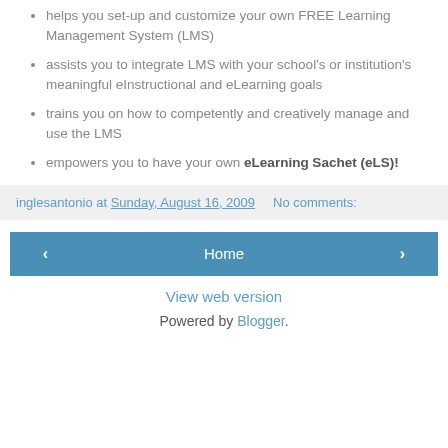helps you set-up and customize your own FREE Learning Management System (LMS)
assists you to integrate LMS with your school's or institution's meaningful eInstructional and eLearning goals
trains you on how to competently and creatively manage and use the LMS
empowers you to have your own eLearning Sachet (eLS)!
inglesantonio at Sunday, August 16, 2009   No comments:
< Home > View web version Powered by Blogger.